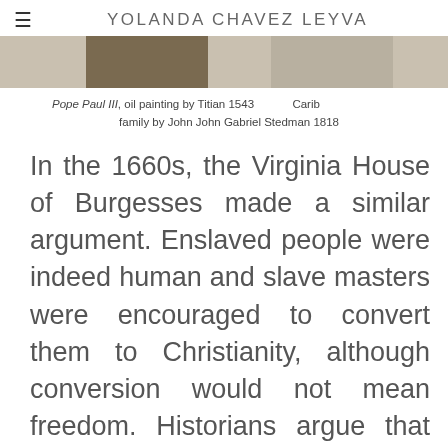YOLANDA CHAVEZ LEYVA
[Figure (photo): Two images partially visible: left appears to be Pope Paul III oil painting, right appears to be a Carib family illustration]
Pope Paul III, oil painting by Titian 1543   Carib family by John John Gabriel Stedman 1818
In the 1660s, the Virginia House of Burgesses made a similar argument. Enslaved people were indeed human and slave masters were encouraged to convert them to Christianity, although conversion would not mean freedom. Historians argue that this law acknowledges the